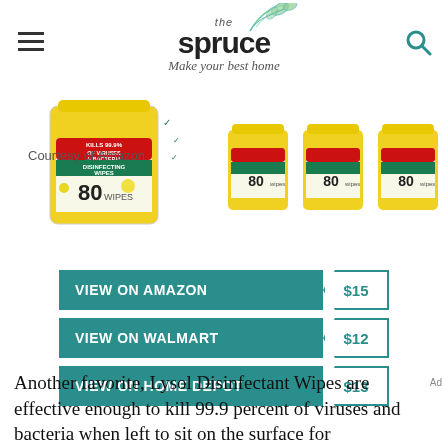the spruce — Make your best home
[Figure (photo): Lysol Disinfectant Wipes container (80 wipes, lemon scent) — one large in foreground, three smaller containers behind. Yellow label reads KILLS 99.9% OF VIRUSES & BACTERIA DISINFECTING WIPES 80 WIPES.]
Courtesy of Amazon
VIEW ON AMAZON $15
VIEW ON WALMART $12
VIEW ON HOME DEPOT $13
Another favorite, Lysol Disinfectant Wipes are effective enough to kill 99.9 percent of viruses and bacteria when left to sit on the surface for some time.[1]